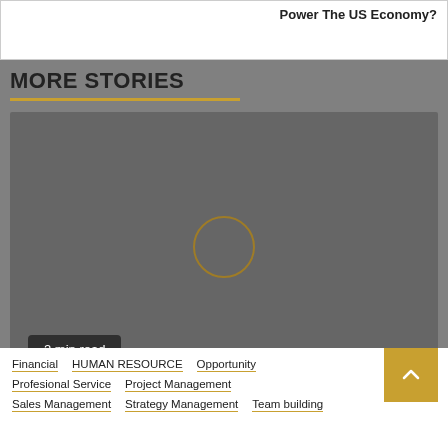Power The US Economy?
MORE STORIES
[Figure (photo): Dark grey video thumbnail placeholder with an outlined circle in the center (play button indicator)]
2 min read
Financial  HUMAN RESOURCE  Opportunity  Profesional Service  Project Management  Sales Management  Strategy Management  Team building